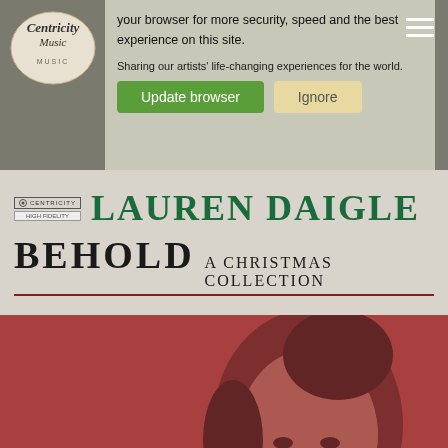Centricity Music
Your browser is out of date. Update your browser for more security, speed and the best experience on this site.
Update browser   Ignore
[Figure (illustration): Lauren Daigle - Behold A Christmas Collection album banner with artist name in green serif font and album title in black serif font on grey background]
[Figure (photo): Portrait photo of Lauren Daigle on terracotta/red background, showing her face and shoulders from a slight angle]
Lauren Daigle Christmas Album